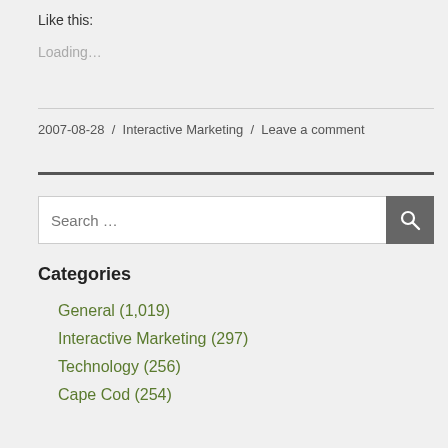Like this:
Loading...
2007-08-28 / Interactive Marketing / Leave a comment
Search ...
Categories
General (1,019)
Interactive Marketing (297)
Technology (256)
Cape Cod (254)